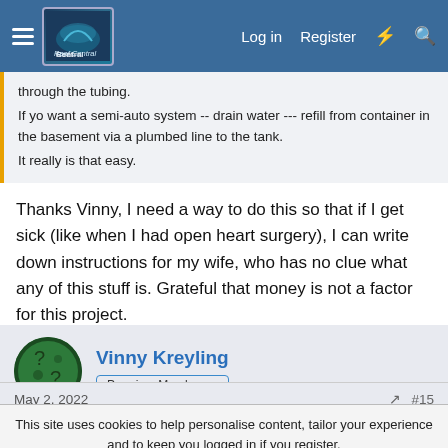Reef Central - Log in | Register
through the tubing.
If yo want a semi-auto system -- drain water --- refill from container in the basement via a plumbed line to the tank.
It really is that easy.
Thanks Vinny, I need a way to do this so that if I get sick (like when I had open heart surgery), I can write down instructions for my wife, who has no clue what any of this stuff is. Grateful that money is not a factor for this project.
Vinny Kreyling
Premium Member
May 2, 2022  #15
This site uses cookies to help personalise content, tailor your experience and to keep you logged in if you register.
By continuing to use this site, you are consenting to our use of cookies.